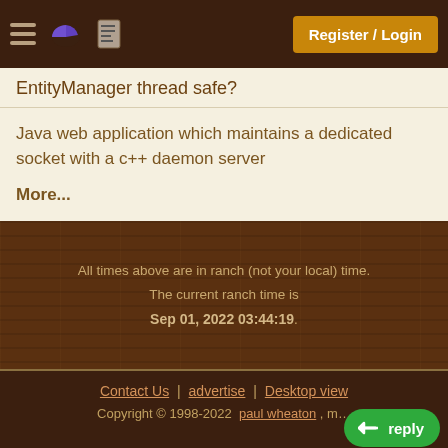Register / Login
EntityManager thread safe?
Java web application which maintains a dedicated socket with a c++ daemon server
More...
All times above are in ranch (not your local) time. The current ranch time is Sep 01, 2022 03:44:19.
Contact Us | advertise | Desktop view
Copyright © 1998-2022 paul wheaton , m…